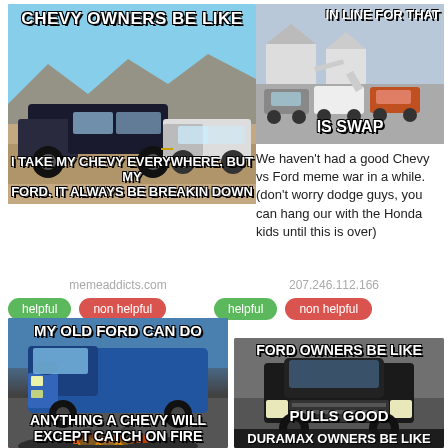[Figure (photo): Meme image: Chevy truck towing a Ford truck. Top text: CHEVY OWNERS BE LIKE. Bottom text: I TAKE MY CHEVY EVERYWHERE. BUT MY FORD. IT ALWAYS BE BREAKIN DOWN]
[Figure (photo): Meme image: Cars lined up for what appears to be an engine swap. Top text: IN LINE FOR THAT. Bottom text: IS SWAP]
We haven't had a good Chevy vs Ford meme war in a while. (don't worry dodge guys, you can hang our with the Honda kids until this is over)
memeaddicts.com
207.246.112.166
helpful
non helpful
helpful
non helpful
[Figure (photo): Meme image: Blue Ford SUV with fire and smoke at the bottom. Top text: MY OLD FORD CAN DO. Bottom text: ANYTHING A CHEVY WILL EXCEPT CATCH ON FIRE]
[Figure (photo): Meme image: Ford truck driving. Top text: FORD OWNERS BE LIKE. Middle text: PULLS GOOD. Bottom text: DURAMAX OWNERS BE LIKE]